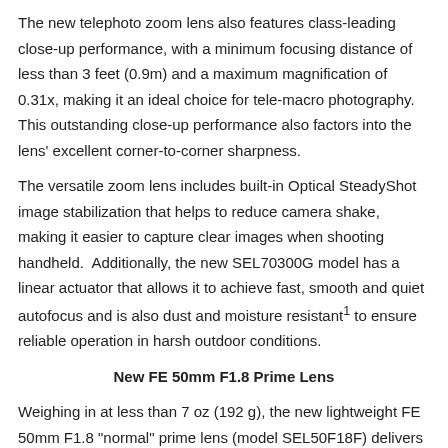The new telephoto zoom lens also features class-leading close-up performance, with a minimum focusing distance of less than 3 feet (0.9m) and a maximum magnification of 0.31x, making it an ideal choice for tele-macro photography.  This outstanding close-up performance also factors into the lens' excellent corner-to-corner sharpness.
The versatile zoom lens includes built-in Optical SteadyShot image stabilization that helps to reduce camera shake, making it easier to capture clear images when shooting handheld.  Additionally, the new SEL70300G model has a linear actuator that allows it to achieve fast, smooth and quiet autofocus and is also dust and moisture resistant1 to ensure reliable operation in harsh outdoor conditions.
New FE 50mm F1.8 Prime Lens
Weighing in at less than 7 oz (192 g), the new lightweight FE 50mm F1.8 "normal" prime lens (model SEL50F18F) delivers an outstanding blend of performance, compactness and value, making it a perfect choice for hobbyist photographers and videographers looking to experience the benefits of a wide aperture prime lens at an attainable cost.